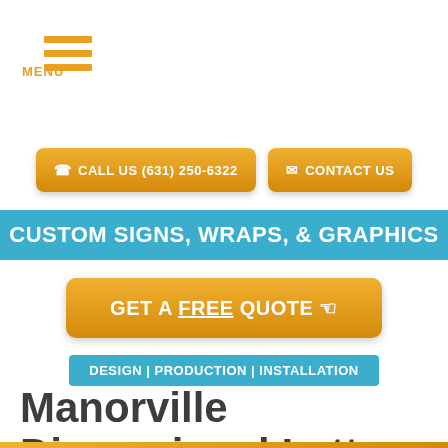MENU
CALL US (631) 250-6322
CONTACT US
CUSTOM SIGNS, WRAPS, & GRAPHICS
GET A FREE QUOTE
DESIGN | PRODUCTION | INSTALLATION
Manorville Dimensional Letters